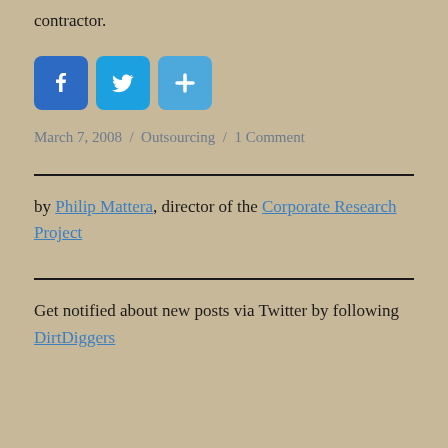contractor.
[Figure (other): Social media sharing icons: Facebook (blue), Twitter (blue), and Add/Share (blue) buttons]
March 7, 2008 / Outsourcing / 1 Comment
by Philip Mattera, director of the Corporate Research Project
Get notified about new posts via Twitter by following DirtDiggers